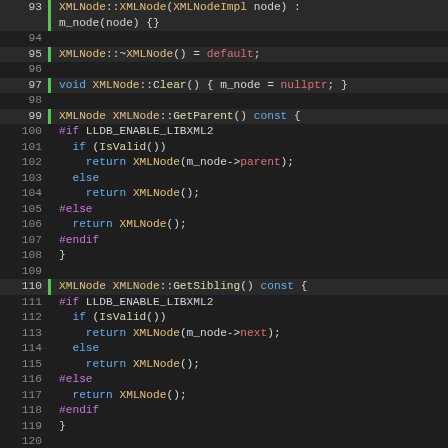[Figure (screenshot): C++ source code editor screenshot showing lines 93-125 of XMLNode implementation, with syntax highlighting on dark background. Functions shown: XMLNode constructor, destructor, Clear(), GetParent(), GetSibling(), GetChild() with #if LLDB_ENABLE_LIBXML2 preprocessor guards.]